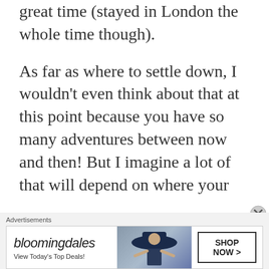great time (stayed in London the whole time though).
As far as where to settle down, I wouldn't even think about that at this point because you have so many adventures between now and then! But I imagine a lot of that will depend on where your
Advertisements
[Figure (screenshot): Bloomingdale's advertisement banner with logo, woman in wide-brimmed hat, and 'SHOP NOW >' call-to-action button]